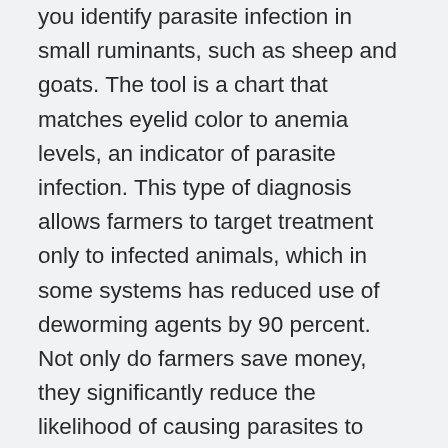you identify parasite infection in small ruminants, such as sheep and goats. The tool is a chart that matches eyelid color to anemia levels, an indicator of parasite infection. This type of diagnosis allows farmers to target treatment only to infected animals, which in some systems has reduced use of deworming agents by 90 percent. Not only do farmers save money, they significantly reduce the likelihood of causing parasites to become resistant to dewormers. During this training you will also become familiar with the common internal parasites and their life cycles, dewormer resistance issues and management options.  The FAMACHA training provided in this workshop is only